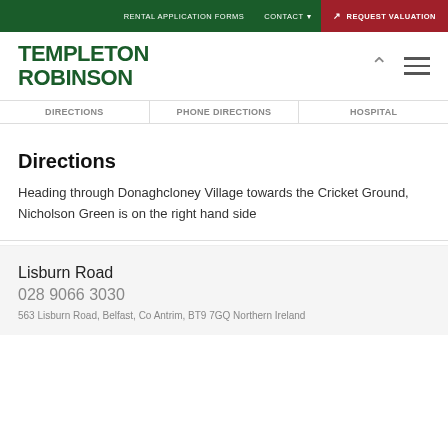RENTAL APPLICATION FORMS   CONTACT   REQUEST VALUATION
[Figure (logo): Templeton Robinson logo in green, with hamburger menu and chevron icons]
DIRECTIONS   PHONE DIRECTIONS   HOSPITAL
Directions
Heading through Donaghcloney Village towards the Cricket Ground, Nicholson Green is on the right hand side
Lisburn Road
028 9066 3030
563 Lisburn Road, Belfast, Co Antrim, BT9 7GQ Northern Ireland